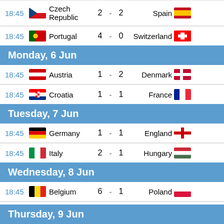| Time | Home Flag | Home Team | Home Score | - | Away Score | Away Team | Away Flag |
| --- | --- | --- | --- | --- | --- | --- | --- |
| 18:45 | Czech Republic flag | Czech Republic | 2 | - | 2 | Spain | Spain flag |
| 18:45 | Portugal flag | Portugal | 4 | - | 0 | Switzerland | Switzerland flag |
Monday, 6 Jun
| Time | Home Flag | Home Team | Home Score | - | Away Score | Away Team | Away Flag |
| --- | --- | --- | --- | --- | --- | --- | --- |
| 18:45 | Austria flag | Austria | 1 | - | 2 | Denmark | Denmark flag |
| 18:45 | Croatia flag | Croatia | 1 | - | 1 | France | France flag |
Tuesday, 7 Jun
| Time | Home Flag | Home Team | Home Score | - | Away Score | Away Team | Away Flag |
| --- | --- | --- | --- | --- | --- | --- | --- |
| 18:45 | Germany flag | Germany | 1 | - | 1 | England | England flag |
| 18:45 | Italy flag | Italy | 2 | - | 1 | Hungary | Hungary flag |
Wednesday, 8 Jun
| Time | Home Flag | Home Team | Home Score | - | Away Score | Away Team | Away Flag |
| --- | --- | --- | --- | --- | --- | --- | --- |
| 18:45 | Belgium flag | Belgium | 6 | - | 1 | Poland | Poland flag |
| 18:45 | Wales flag | Wales | 1 | - | 2 | Netherlands | Netherlands flag |
Thursday, 9 Jun